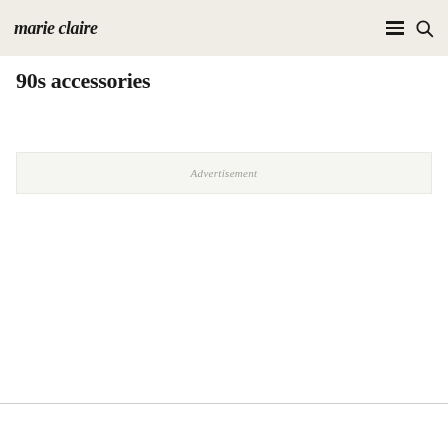marie claire
90s accessories
Advertisement